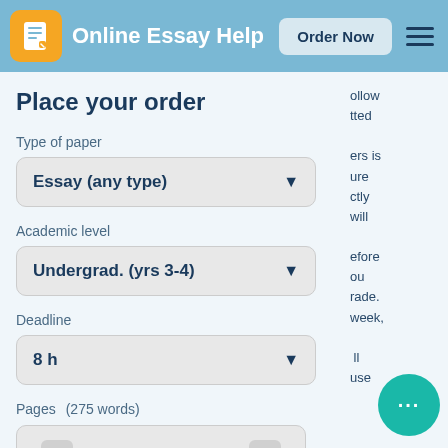Online Essay Help | Order Now
Place your order
Type of paper
Essay (any type)
Academic level
Undergrad. (yrs 3-4)
Deadline
8 h
Pages    (275 words)
1